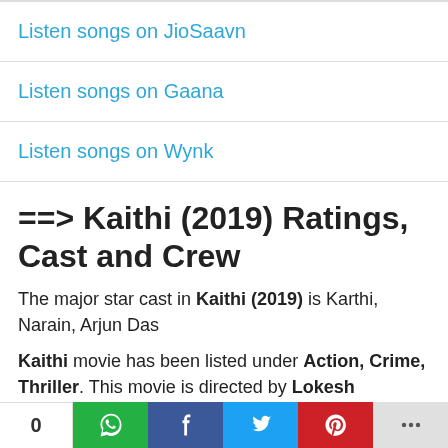| Listen songs on JioSaavn |
| Listen songs on Gaana |
| Listen songs on Wynk |
==> Kaithi (2019) Ratings, Cast and Crew
The major star cast in Kaithi (2019) is Karthi, Narain, Arjun Das
Kaithi movie has been listed under Action, Crime, Thriller. This movie is directed by Lokesh Kanagaraj. The story plot and the script has been written by Lokesh Kanagaraj, Pon Parthiban, Sanjeev Tiwari.
0 [social share buttons]